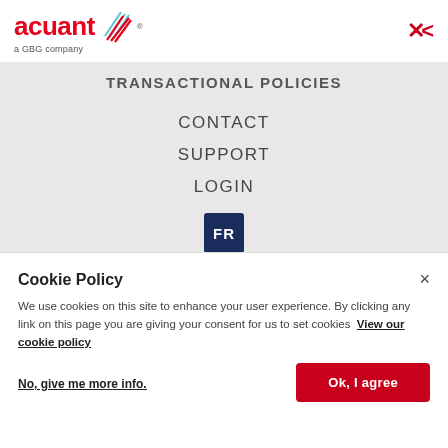acuant® — a GBG company
TRANSACTIONAL POLICIES
CONTACT
SUPPORT
LOGIN
[Figure (logo): FR logo badge — dark blue square with white letters FR]
Cookie Policy
We use cookies on this site to enhance your user experience. By clicking any link on this page you are giving your consent for us to set cookies  View our cookie policy
No, give me more info.
Ok, I agree